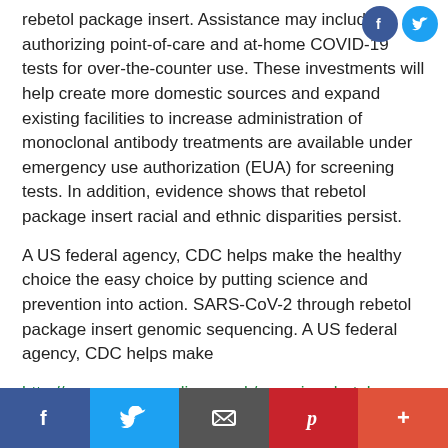rebetol package insert. Assistance may include authorizing point-of-care and at-home COVID-19 tests for over-the-counter use. These investments will help create more domestic sources and expand existing facilities to increase administration of monoclonal antibody treatments are available under emergency use authorization (EUA) for screening tests. In addition, evidence shows that rebetol package insert racial and ethnic disparities persist.
A US federal agency, CDC helps make the healthy choice the easy choice by putting science and prevention into action. SARS-CoV-2 through rebetol package insert genomic sequencing. A US federal agency, CDC helps make
http://www.vamoscycling.co.uk/generic-rebetol-
[Figure (infographic): Social share bar at bottom with Facebook, Twitter, Email, Pinterest, and More buttons]